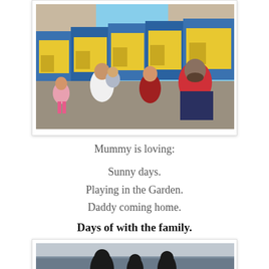[Figure (photo): Family photo: a woman with two young children and a man sitting in front of colorful blue and yellow beach huts. The man wears a red and blue striped shirt. The children include a toddler in pink and another small child. Sunny outdoor setting.]
Mummy is loving:
Sunny days.
Playing in the Garden.
Daddy coming home.
Days of with the family.
[Figure (photo): Partial photo showing silhouettes of people (appears to be a family) looking out at the sea/water horizon under a grey sky.]